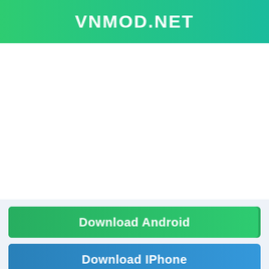VNMOD.NET
Download Android
Download IPhone